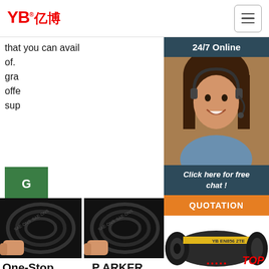YB亿博® logo and hamburger navigation button
that you can avail of. gra... offe... sup...
[Figure (screenshot): 24/7 Online chat agent - woman with headset smiling, with 'Click here for free chat!' and QUOTATION button, and a YB branded hose with TOP label]
[Figure (photo): Two product photos of black hydraulic hoses being held by a hand]
One-Stop
P ARKER
Industrial